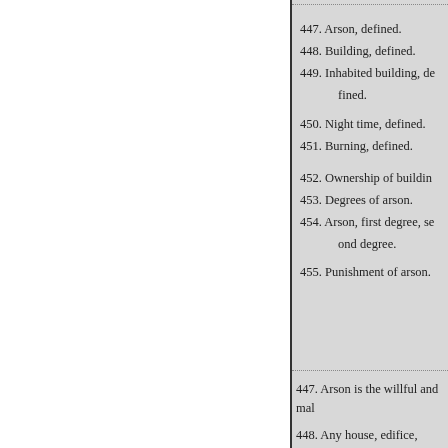447. Arson, defined.
448. Building, defined.
449. Inhabited building, defined.
450. Night time, defined.
451. Burning, defined.
452. Ownership of building.
453. Degrees of arson.
454. Arson, first degree, second degree.
455. Punishment of arson.
447. Arson is the willful and mal...
448. Any house, edifice, structur... or appurtenant to or connected w... chapter.
449. Any building which has usu... building," within the meaning of...